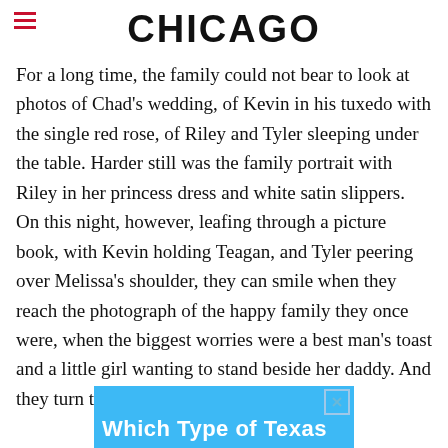CHICAGO
For a long time, the family could not bear to look at photos of Chad's wedding, of Kevin in his tuxedo with the single red rose, of Riley and Tyler sleeping under the table. Harder still was the family portrait with Riley in her princess dress and white satin slippers. On this night, however, leafing through a picture book, with Kevin holding Teagan, and Tyler peering over Melissa's shoulder, they can smile when they reach the photograph of the happy family they once were, when the biggest worries were a best man's toast and a little girl wanting to stand beside her daddy. And they turn the page.
[Figure (other): Advertisement banner with blue background showing partial text 'Which Type of Texas']